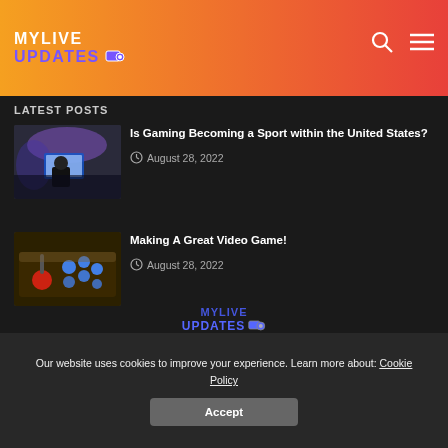MYLIVE UPDATES
Latest Posts
[Figure (photo): Esports player at computer in arena]
Is Gaming Becoming a Sport within the United States?
August 28, 2022
[Figure (photo): Arcade joystick controller with colorful buttons]
Making A Great Video Game!
August 28, 2022
[Figure (logo): MyLive Updates logo in blue]
Our website uses cookies to improve your experience. Learn more about: Cookie Policy
Accept